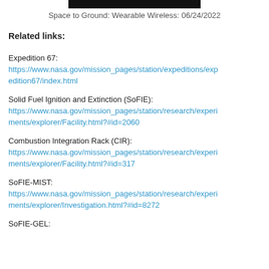Space to Ground: Wearable Wireless: 06/24/2022
Related links:
Expedition 67:
https://www.nasa.gov/mission_pages/station/expeditions/expedition67/index.html
Solid Fuel Ignition and Extinction (SoFIE):
https://www.nasa.gov/mission_pages/station/research/experiments/explorer/Facility.html?#id=2060
Combustion Integration Rack (CIR):
https://www.nasa.gov/mission_pages/station/research/experiments/explorer/Facility.html?#id=317
SoFIE-MIST:
https://www.nasa.gov/mission_pages/station/research/experiments/explorer/Investigation.html?#id=8272
SoFIE-GEL: